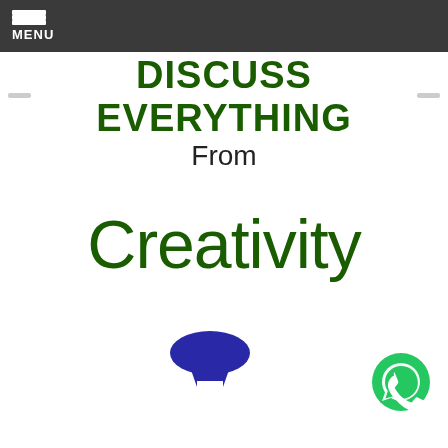MENU
DISCUSS EVERYTHING
From
Creativity
[Figure (illustration): Hourglass/avatar icon in blue above a grey laptop base, with a green WhatsApp button in the bottom right corner]